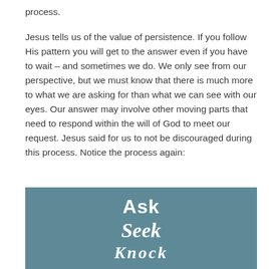process.
Jesus tells us of the value of persistence. If you follow His pattern you will get to the answer even if you have to wait – and sometimes we do. We only see from our perspective, but we must know that there is much more to what we are asking for than what we can see with our eyes. Our answer may involve other moving parts that need to respond within the will of God to meet our request. Jesus said for us to not be discouraged during this process. Notice the process again:
[Figure (infographic): Teal/blue-grey background box with white text showing the words 'Ask', 'Seek', and partially visible 'Knock' in a stacked layout. 'Ask' is in bold sans-serif, 'Seek' and 'Knock' are in italic script font.]